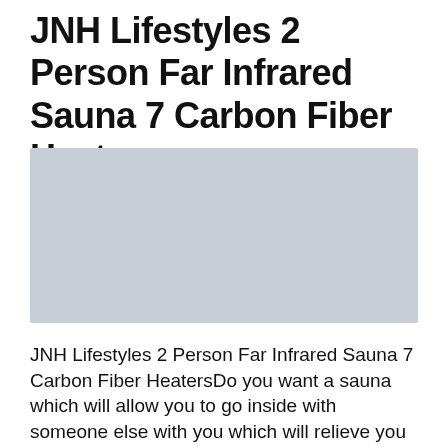JNH Lifestyles 2 Person Far Infrared Sauna 7 Carbon Fiber Heaters
[Figure (photo): Placeholder image area with light gray background representing a product photo of the JNH Lifestyles 2 Person Far Infrared Sauna]
JNH Lifestyles 2 Person Far Infrared Sauna 7 Carbon Fiber HeatersDo you want a sauna which will allow you to go inside with someone else with you which will relieve you from a boring experience of other saunas?